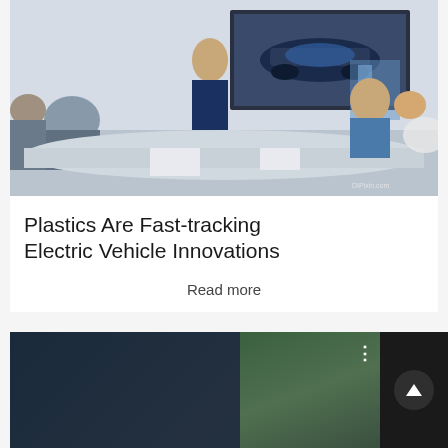[Figure (photo): A professional engineering meeting room. A woman in a blue blazer stands presenting in front of a large screen displaying an electric vehicle chassis diagram. Several colleagues sit around a conference table listening.]
Plastics Are Fast-tracking Electric Vehicle Innovations
Read more
[Figure (screenshot): A video thumbnail card showing a person with a circle avatar on the left and text 'How to slow down & manag...' with subtitle text 'own and manage fast-paced life to achieve Success'. A three-dot menu icon and a scroll-to-top button are visible on the right.]